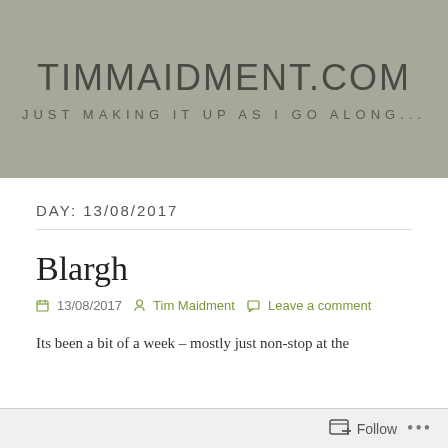TIMMAIDMENT.COM
JUST MAKING IT UP AS I GO ALONG...
DAY: 13/08/2017
Blargh
13/08/2017  Tim Maidment  Leave a comment
Its been a bit of a week – mostly just non-stop at the